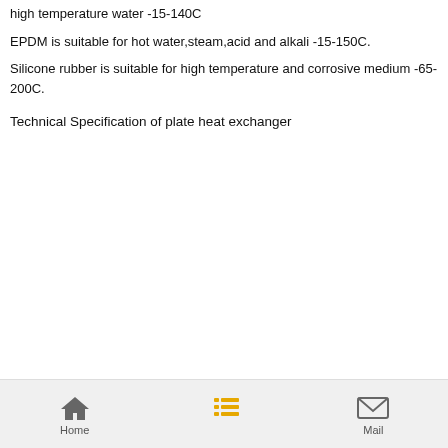high temperature water -15-140C
EPDM is suitable for hot water,steam,acid and alkali -15-150C.
Silicone rubber is suitable for high temperature and corrosive medium -65-200C.
Technical Specification of plate heat exchanger
Home  Mail